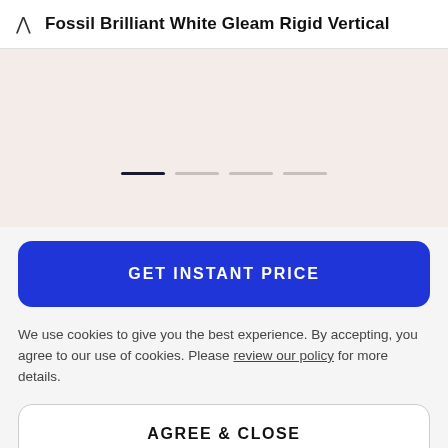Fossil Brilliant White Gleam Rigid Vertical
[Figure (other): Product image carousel area with beige/cream background showing pagination dots — one active dark dot and three inactive light dots]
GET INSTANT PRICE
We use cookies to give you the best experience. By accepting, you agree to our use of cookies. Please review our policy for more details.
AGREE & CLOSE